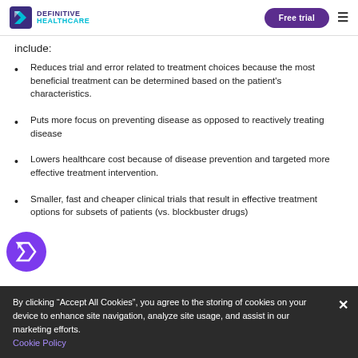DEFINITIVE HEALTHCARE | Free trial
include:
Reduces trial and error related to treatment choices because the most beneficial treatment can be determined based on the patient's characteristics.
Puts more focus on preventing disease as opposed to reactively treating disease
Lowers healthcare cost because of disease prevention and targeted more effective treatment intervention.
Smaller, fast and cheaper clinical trials that result in effective treatment options for subsets of patients (vs. blockbuster drugs)
By clicking "Accept All Cookies", you agree to the storing of cookies on your device to enhance site navigation, analyze site usage, and assist in our marketing efforts.
Cookie Policy